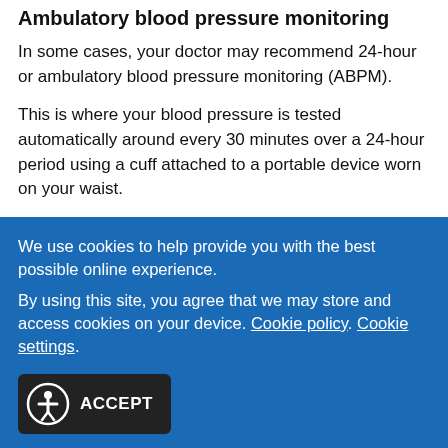Ambulatory blood pressure monitoring
In some cases, your doctor may recommend 24-hour or ambulatory blood pressure monitoring (ABPM).
This is where your blood pressure is tested automatically around every 30 minutes over a 24-hour period using a cuff attached to a portable device worn on your waist.
ABPM can help to give a clear picture of how your blood pressure changes over the course of a day.
You should continue with your normal daily activities during
We use cookies to help provide you with the best possible online experience.
By using this site, you agree that we may store and access cookies on your device. Cookie policy. Cookie settings.
[Figure (other): Accept cookies button with accessibility icon (person in circle) and ACCEPT label on dark background]